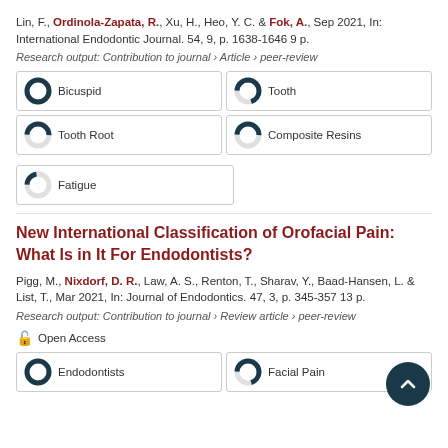Lin, F., Ordinola-Zapata, R., Xu, H., Heo, Y. C. & Fok, A., Sep 2021, In: International Endodontic Journal. 54, 9, p. 1638-1646 9 p.
Research output: Contribution to journal › Article › peer-review
[Figure (infographic): Five keyword badges with donut-style percentage indicators: Bicuspid 100%, Tooth 70%, Tooth Root 50%, Composite Resins 50%, Fatigue 22%]
New International Classification of Orofacial Pain: What Is in It For Endodontists?
Pigg, M., Nixdorf, D. R., Law, A. S., Renton, T., Sharav, Y., Baad-Hansen, L. & List, T., Mar 2021, In: Journal of Endodontics. 47, 3, p. 345-357 13 p.
Research output: Contribution to journal › Review article › peer-review
Open Access
[Figure (infographic): Two keyword badges: Endodontists 100%, Facial Pain 70%]